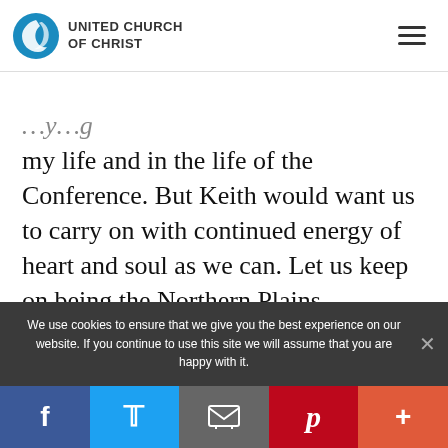UNITED CHURCH OF CHRIST
my life and in the life of the Conference. But Keith would want us to carry on with continued energy of heart and soul as we can. Let us keep on being the Northern Plains Conference UCC with vigor and verve as God’s Spirit will lead us through this time of grief and loss.”
We use cookies to ensure that we give you the best experience on our website. If you continue to use this site we will assume that you are happy with it.